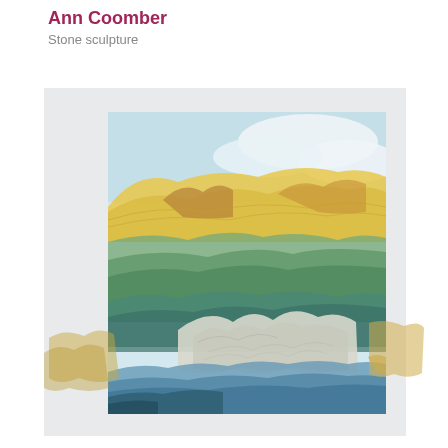Ann Coomber
Stone sculpture
[Figure (illustration): A watercolour-style landscape painting showing rolling hills and rocky terrain. The upper portion features yellow-golden hills under a light blue sky with white clouds. The middle section shows green-teal undulating landscape. The lower portion depicts white and grey rocky outcroppings with blue water visible at the bottom. Earthy beige-gold tones extend beyond the main image boundary at lower right and lower left.]